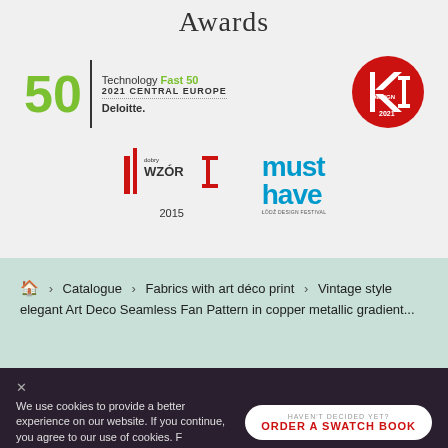Awards
[Figure (logo): Deloitte Technology Fast 50 2021 Central Europe logo with large green '50' number]
[Figure (logo): Good Design 2021 award logo — red circle with K and arrow design]
[Figure (logo): Dobry Wzor (Good Design) 2015 award logo]
[Figure (logo): Must Have award logo in blue bold text]
🏠 > Catalogue > Fabrics with art déco print > Vintage style elegant Art Deco Seamless Fan Pattern in copper metallic gradient...
We use cookies to provide a better experience on our website. If you continue, you agree to our use of cookies. F...
HAVEN'T DECIDED YET? ORDER A SWATCH BOOK